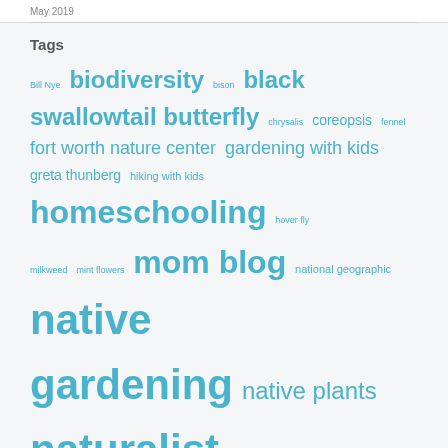May 2019
Tags
Bill Nye biodiversity bison black swallowtail butterfly chrysalis coreopsis fennel fort worth nature center gardening with kids greta thunberg hiking with kids homeschooling hover fly milkweed mint flowers mom blog national geographic native gardening native plants naturalist naturalist parent naturalist parenting nature mom organic gardening parenting pollinators Prescribing Nature pta raising naturalists reduce reuse recycle refuse reduce reuse recycle squarefoot gardening summer camp Super Recycling sustainability teaching kids about nature terracycle texas butterflies texas naturalist